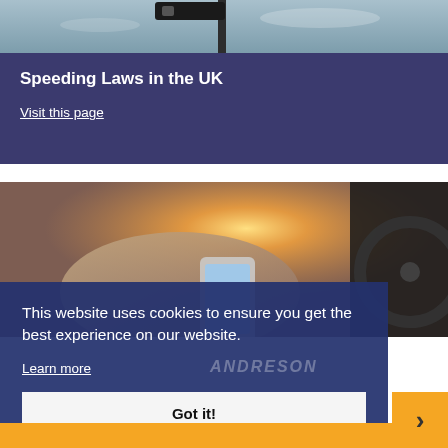[Figure (photo): Street sign / speed camera silhouette against a blue-grey sky]
Speeding Laws in the UK
Visit this page
[Figure (photo): Person holding a mobile phone at a steering wheel, bright sun flare]
This website uses cookies to ensure you get the best experience on our website.
Learn more
Got it!